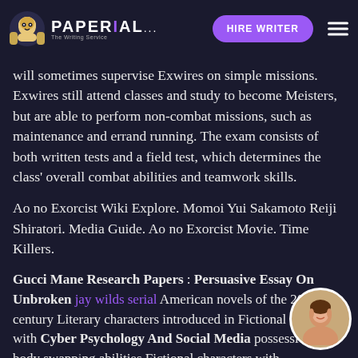PAPERIAL... HIRE WRITER
will sometimes supervise Exwires on simple missions. Exwires still attend classes and study to become Meisters, but are able to perform non-combat missions, such as maintenance and errand running. The exam consists of both written tests and a field test, which determines the class' overall combat abilities and teamwork skills.
Ao no Exorcist Wiki Explore. Momoi Yui Sakamoto Reiji Shiratori. Media Guide. Ao no Exorcist Movie. Time Killers.
Gucci Mane Research Papers : Persuasive Essay On Unbroken jay wilds serial American novels of the 20th century Literary characters introduced in Fictional characters with Cyber Psychology And Social Media possession or body swapping abilities Fictional characters with superhuman strength Fictional demons and devils Fictional mass murderers Male literary villains Male